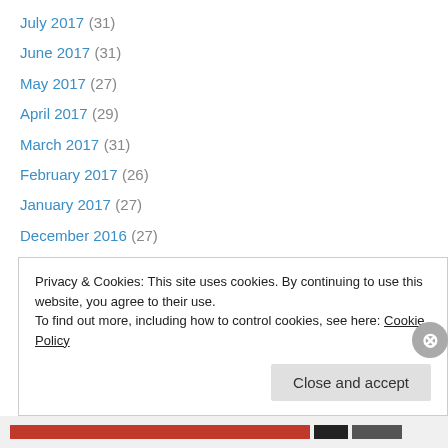July 2017 (31)
June 2017 (31)
May 2017 (27)
April 2017 (29)
March 2017 (31)
February 2017 (26)
January 2017 (27)
December 2016 (27)
November 2016 (31)
October 2016 (30)
September 2016 (29)
August 2016 (28)
July 2016 (24)
Privacy & Cookies: This site uses cookies. By continuing to use this website, you agree to their use. To find out more, including how to control cookies, see here: Cookie Policy
Close and accept